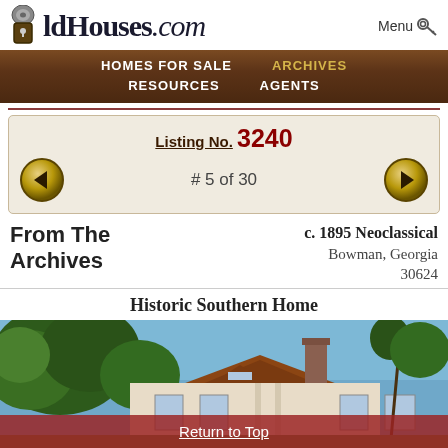OldHouses.com
Menu
HOMES FOR SALE   ARCHIVES   RESOURCES   AGENTS
Listing No. 3240
# 5 of 30
From The Archives
c. 1895 Neoclassical
Bowman, Georgia
30624
Historic Southern Home
[Figure (photo): Exterior photo of a historic Neoclassical home in Bowman, Georgia, partially obscured by trees, showing roofline and chimney against a blue sky.]
Return to Top